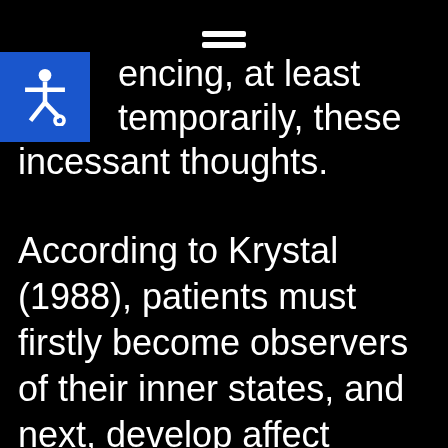[hamburger menu icon]
encing, at least temporarily, these incessant thoughts.
According to Krystal (1988), patients must firstly become observers of their inner states, and next, develop affect tolerance. Given that biofeedback allows the therapist and patient to share affect observation, their frightening nature can be decreased and patients can